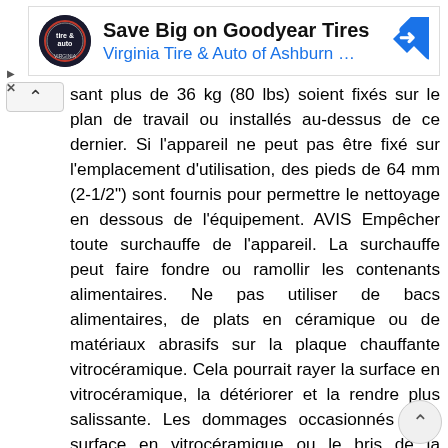[Figure (screenshot): Advertisement banner for Virginia Tire & Auto of Ashburn featuring Goodyear Tires offer, with circular logo, text, and diamond arrow icon.]
sant plus de 36 kg (80 lbs) soient fixés sur le plan de travail ou installés au-dessus de ce dernier. Si l'appareil ne peut pas être fixé sur l'emplacement d'utilisation, des pieds de 64 mm (2-1/2") sont fournis pour permettre le nettoyage en dessous de l'équipement. AVIS Empêcher toute surchauffe de l'appareil. La surchauffe peut faire fondre ou ramollir les contenants alimentaires. Ne pas utiliser de bacs alimentaires, de plats en céramique ou de matériaux abrasifs sur la plaque chauffante vitrocéramique. Cela pourrait rayer la surface en vitrocéramique, la détériorer et la rendre plus salissante. Les dommages occasionnés à la surface en vitrocéramique ou le bris de la vitrocéramique dus à une utilisation inappropriée ne sont pas couverts par la garantie. AVIS Installer l'appareil dans une zone à l'écart des courants d'air. Éviter les zones pouvant être soumises à des mouvements d'air ou à des courants d'air actifs (c.-à-d. à proximité des ventilateurs/capots d'échappement, des portes et des